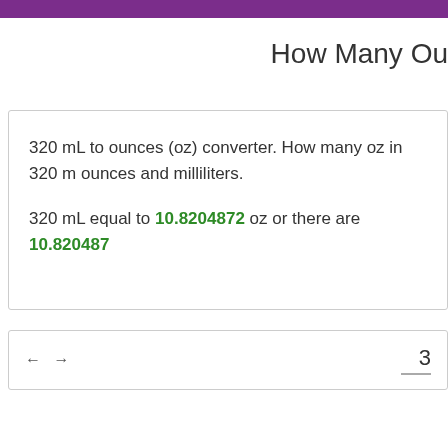How Many Ou
320 mL to ounces (oz) converter. How many oz in 320 m ounces and milliliters.

320 mL equal to 10.8204872 oz or there are 10.820487
[Figure (other): Input box with navigation arrows and a number input showing '3', with an underline]